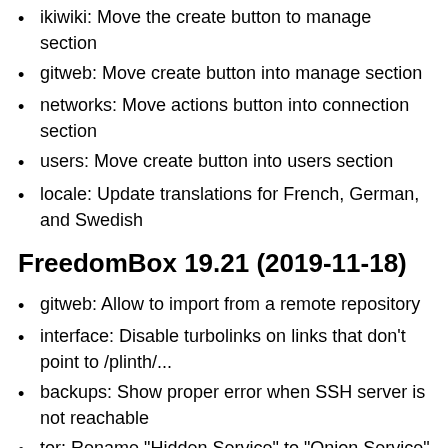ikiwiki: Move the create button to manage section
gitweb: Move create button into manage section
networks: Move actions button into connection section
users: Move create button into users section
locale: Update translations for French, German, and Swedish
FreedomBox 19.21 (2019-11-18)
gitweb: Allow to import from a remote repository
interface: Disable turbolinks on links that don't point to /plinth/...
backups: Show proper error when SSH server is not reachable
tor: Rename "Hidden Service" to "Onion Service"
ejabberd: Handle case where domain name is not set
tahoe: Mark Tahoe-LAFS as an advanced app